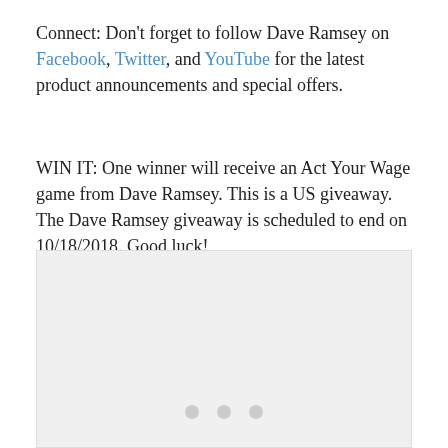Connect: Don't forget to follow Dave Ramsey on Facebook, Twitter, and YouTube for the latest product announcements and special offers.
WIN IT: One winner will receive an Act Your Wage game from Dave Ramsey. This is a US giveaway. The Dave Ramsey giveaway is scheduled to end on 10/18/2018. Good luck!
[Figure (other): A gray placeholder content block with three dots at the bottom center, indicating a loading or carousel widget.]